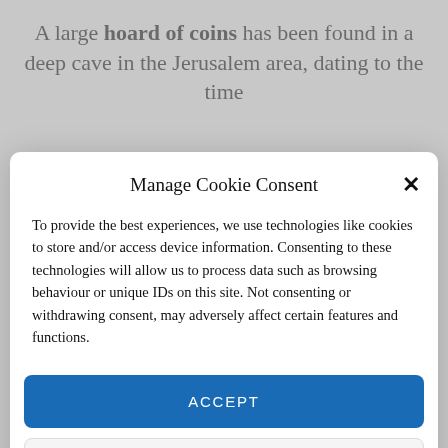A large hoard of coins has been found in a deep cave in the Jerusalem area, dating to the time
Manage Cookie Consent
To provide the best experiences, we use technologies like cookies to store and/or access device information. Consenting to these technologies will allow us to process data such as browsing behaviour or unique IDs on this site. Not consenting or withdrawing consent, may adversely affect certain features and functions.
ACCEPT
DENY
VIEW PREFERENCES
Cookie Policy   Privacy Policy